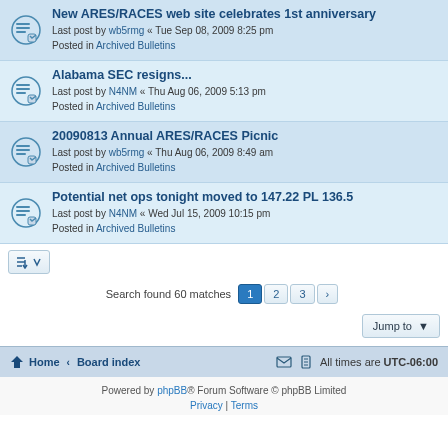New ARES/RACES web site celebrates 1st anniversary
Last post by wb5rmg « Tue Sep 08, 2009 8:25 pm
Posted in Archived Bulletins
Alabama SEC resigns...
Last post by N4NM « Thu Aug 06, 2009 5:13 pm
Posted in Archived Bulletins
20090813 Annual ARES/RACES Picnic
Last post by wb5rmg « Thu Aug 06, 2009 8:49 am
Posted in Archived Bulletins
Potential net ops tonight moved to 147.22 PL 136.5
Last post by N4NM « Wed Jul 15, 2009 10:15 pm
Posted in Archived Bulletins
Search found 60 matches
Home · Board index   All times are UTC-06:00
Powered by phpBB® Forum Software © phpBB Limited
Privacy | Terms